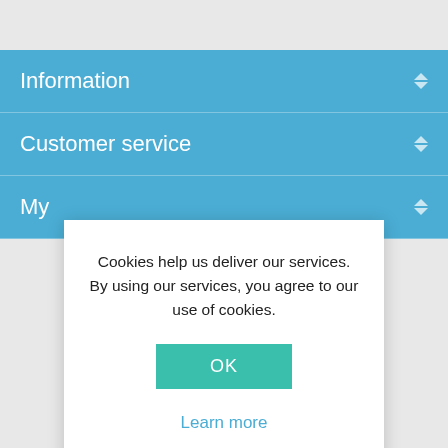Information
Customer service
My
Cookies help us deliver our services. By using our services, you agree to our use of cookies.
OK
Learn more
Newsletter
Enter your email here...
SUBSCRIBE